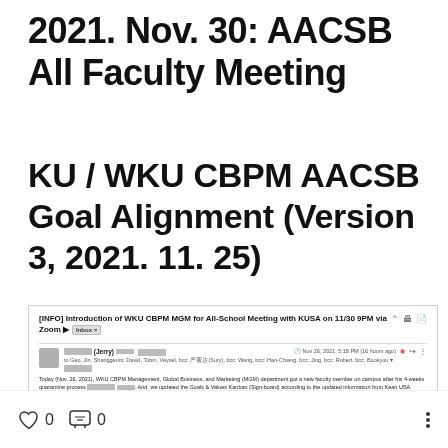2021. Nov. 30: AACSB All Faculty Meeting
KU / WKU CBPM AACSB Goal Alignment (Version 3, 2021. 11. 25)
[Figure (screenshot): Email screenshot: [INFO] Introduction of WKU CBPM MGM for All-School Meeting with KUSA on 11/30 9PM via Zoom. Sender: (Jerry) [redacted], Nov 26, 2021, 5:18 PM (16 hours ago). To: Geo, Jin, Shanggeum, David, Tobin, Veysel; bcc: [redacted](Sury); bcc: Wang; bcc: Han-Chiang; bcc: Jing; bcc: Robert; bcc: Bookyou. Body: Today (Nov. 26, 2021), WKU CBPM Management, Global Business, and Marketing (MGM) department got a new faculty member on campus after his 4-weeks quarantine process [redacted]. And, we updated the Goals & Values Kanban (Sign-board) according to the updated information from Kean USA. [thumbnail image]]
0 likes  0 comments